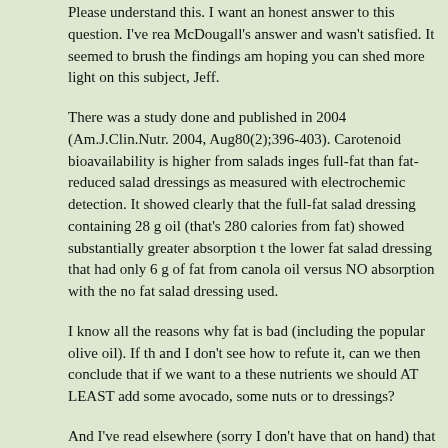Please understand this. I want an honest answer to this question. I've read McDougall's answer and wasn't satisfied. It seemed to brush the findings aside. I am hoping you can shed more light on this subject, Jeff.
There was a study done and published in 2004 (Am.J.Clin.Nutr. 2004, Aug80(2);396-403). Carotenoid bioavailability is higher from salads ingested with full-fat than fat-reduced salad dressings as measured with electrochemical detection. It showed clearly that the full-fat salad dressing containing 28 g of oil (that's 280 calories from fat) showed substantially greater absorption than the lower fat salad dressing that had only 6 g of fat from canola oil versus NO absorption with the no fat salad dressing used.
I know all the reasons why fat is bad (including the popular olive oil). If this is true and I don't see how to refute it, can we then conclude that if we want to absorb these nutrients we should AT LEAST add some avocado, some nuts or to our dressings?
And I've read elsewhere (sorry I don't have that on hand) that in order absorb Vitamin E, Vitamin D and I think Vitamin K we all need fat in our diet. Yes, I know you will say there is some fat in most foods, including lettuce, but it certainly isn't enough in this case, i.e. salads, which also included raw carrots. So is the answer to cook everything? Even lettuce? Or blending them? Please do not think I am trying to be contentious.
Thank you very much.